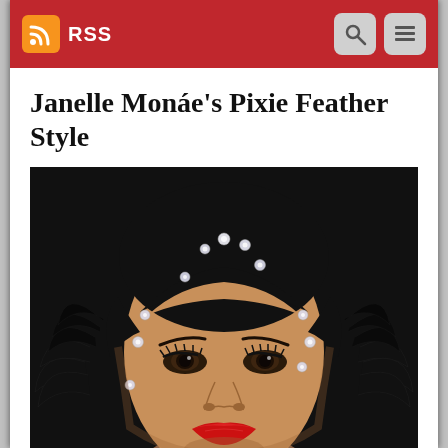RSS
Janelle Monáe's Pixie Feather Style
[Figure (photo): Close-up photo of Janelle Monáe wearing a black pixie hairstyle adorned with sparkling crystal/rhinestone embellishments, with black feathers framing her face on both sides. She has dramatic eye makeup, long lashes, and bold red lipstick.]